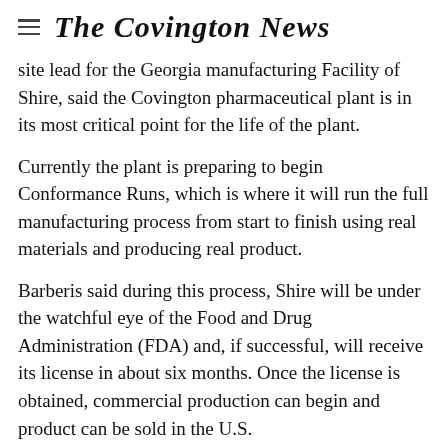The Covington News
site lead for the Georgia manufacturing Facility of Shire, said the Covington pharmaceutical plant is in its most critical point for the life of the plant.
Currently the plant is preparing to begin Conformance Runs, which is where it will run the full manufacturing process from start to finish using real materials and producing real product.
Barberis said during this process, Shire will be under the watchful eye of the Food and Drug Administration (FDA) and, if successful, will receive its license in about six months. Once the license is obtained, commercial production can begin and product can be sold in the U.S.